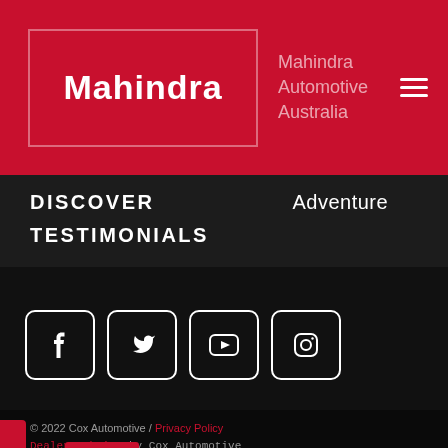[Figure (logo): Mahindra logo in white text on red background with border]
Mahindra Automotive Australia
DISCOVER Adventure
TESTIMONIALS
[Figure (infographic): Social media icons: Facebook, Twitter, YouTube, Instagram]
© 2022 Cox Automotive / Privacy Policy
Dealer Website by Cox Automotive